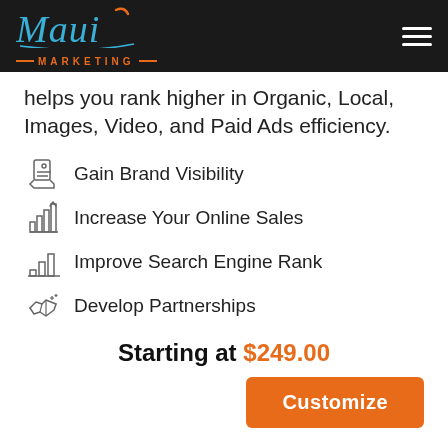Maui Marketing
helps you rank higher in Organic, Local, Images, Video, and Paid Ads efficiency.
Gain Brand Visibility
Increase Your Online Sales
Improve Search Engine Rank
Develop Partnerships
Starting at $249.00
Customize